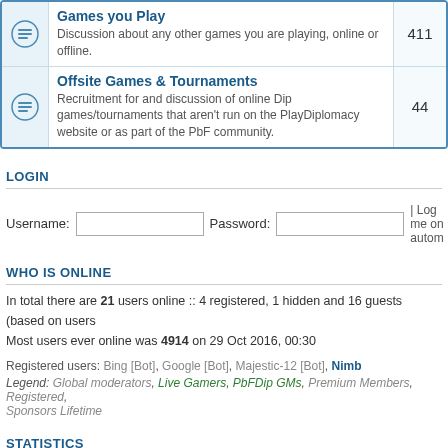|  | Forum | Posts |
| --- | --- | --- |
| [icon] | Games you Play
Discussion about any other games you are playing, online or offline. | 411 |
| [icon] | Offsite Games & Tournaments
Recruitment for and discussion of online Dip games/tournaments that aren't run on the PlayDiplomacy website or as part of the PbF community. | 44 |
LOGIN
Username: [input] Password: [input] | Log me on autom…
WHO IS ONLINE
In total there are 21 users online :: 4 registered, 1 hidden and 16 guests (based on users…
Most users ever online was 4914 on 29 Oct 2016, 00:30
Registered users: Bing [Bot], Google [Bot], Majestic-12 [Bot], Nimb
Legend: Global moderators, Live Gamers, PbFDip GMs, Premium Members, Registered, Sponsors Lifetime
STATISTICS
Total posts 982825 • Total topics 55803 • Total members 284851 • Our newest member s…
Board index | The team • Delete all board … | Powered by phpBB® Forum Software © phpBB Gr…